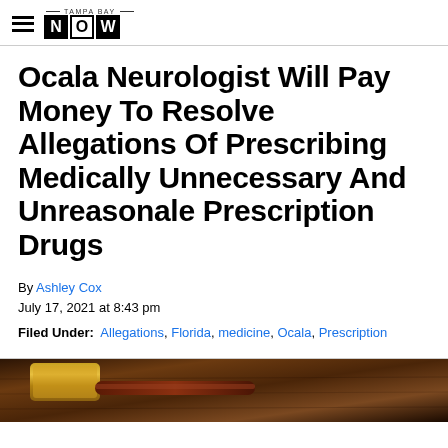TAMPA BAY NOW
Ocala Neurologist Will Pay Money To Resolve Allegations Of Prescribing Medically Unnecessary And Unreasonale Prescription Drugs
By Ashley Cox
July 17, 2021 at 8:43 pm
Filed Under: Allegations, Florida, medicine, Ocala, Prescription
[Figure (photo): A gavel on a wooden surface, partially visible at the bottom of the page]